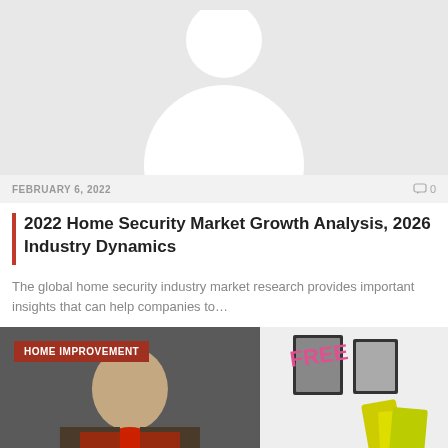[Figure (photo): Avatar/profile silhouette image with a white rounded person shape on a light gray background]
FEBRUARY 6, 2022
0
2022 Home Security Market Growth Analysis, 2026 Industry Dynamics
The global home security industry market research provides important insights that can help companies to…
[Figure (photo): HOME IMPROVEMENT tagged image showing a man in a red shirt/jacket on the left side and product packaging on a white wall on the right side]